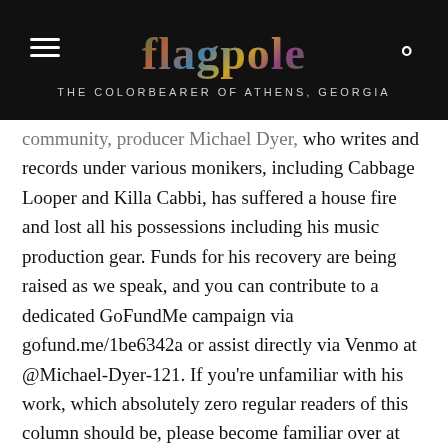flagpole — THE COLORBEARER OF ATHENS, GEORGIA
community, producer Michael Dyer, who writes and records under various monikers, including Cabbage Looper and Killa Cabbi, has suffered a house fire and lost all his possessions including his music production gear. Funds for his recovery are being raised as we speak, and you can contribute to a dedicated GoFundMe campaign via gofund.me/1be6342a or assist directly via Venmo at @Michael-Dyer-121. If you're unfamiliar with his work, which absolutely zero regular readers of this column should be, please become familiar over at echobassrecords.bandcamp.com.
SUMMER SELECTION: Sebastian Marquez (Dead Neighbors) has released a charity single under his new-